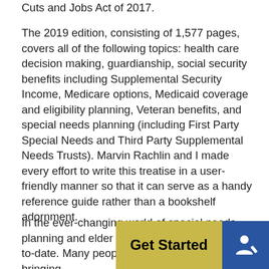Cuts and Jobs Act of 2017.
The 2019 edition, consisting of 1,577 pages, covers all of the following topics: health care decision making, guardianship, social security benefits including Supplemental Security Income, Medicare options, Medicaid coverage and eligibility planning, Veteran benefits, and special needs planning (including First Party Special Needs and Third Party Supplemental Needs Trusts). Marvin Rachlin and I made every effort to write this treatise in a user-friendly manner so that it can serve as a handy reference guide rather than a bookshelf adornment.
In the ever-changing world of special needs planning and elder law, it is difficult to keep... up-to-date. Many people deserve thanks for bringing
[Figure (other): Get Started button overlay: yellow button labeled 'Get Started' and blue button with person/edit icon]